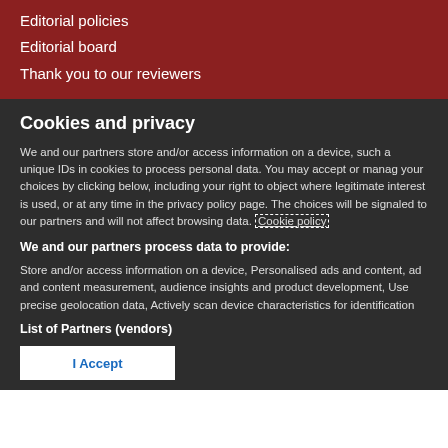Editorial policies
Editorial board
Thank you to our reviewers
Cookies and privacy
We and our partners store and/or access information on a device, such as unique IDs in cookies to process personal data. You may accept or manage your choices by clicking below, including your right to object where legitimate interest is used, or at any time in the privacy policy page. These choices will be signaled to our partners and will not affect browsing data. Cookie policy
We and our partners process data to provide:
Store and/or access information on a device, Personalised ads and content, ad and content measurement, audience insights and product development, Use precise geolocation data, Actively scan device characteristics for identification
List of Partners (vendors)